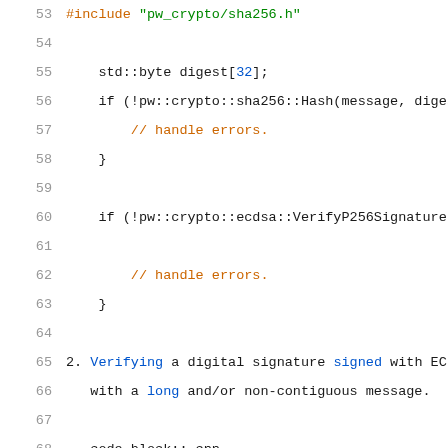Code listing lines 53-74 showing C++ code with #include directives, SHA256 hash usage, ECDSA signature verification, and RST-style comments about verifying digital signatures.